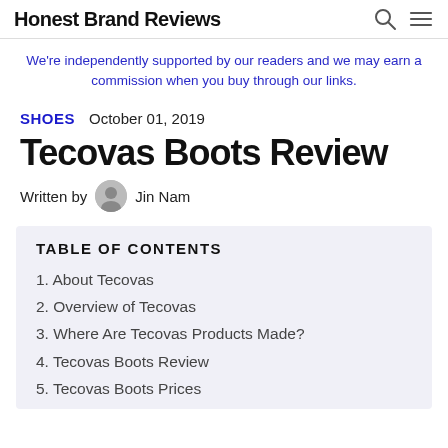Honest Brand Reviews
We're independently supported by our readers and we may earn a commission when you buy through our links.
SHOES  October 01, 2019
Tecovas Boots Review
Written by  Jin Nam
TABLE OF CONTENTS
1. About Tecovas
2. Overview of Tecovas
3. Where Are Tecovas Products Made?
4. Tecovas Boots Review
5. Tecovas Boots Prices